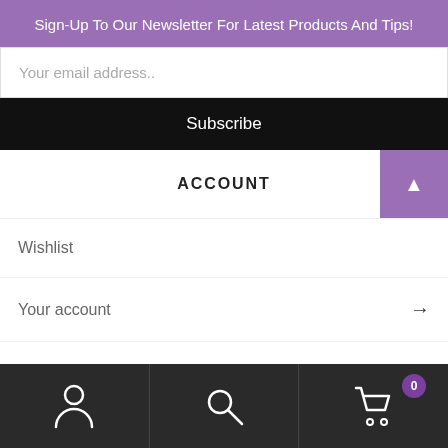Sign-Up To Our Newsletter For Latest Products And Tips!
Your email address..
Subscribe
ACCOUNT
Wishlist
Your account →
Cart →